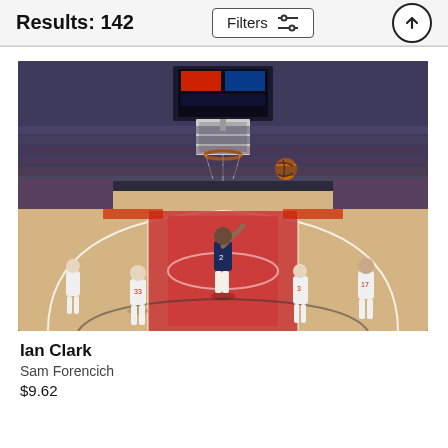Results: 142
Filters
[Figure (photo): NBA basketball game action photo showing Ian Clark (#2, New Orleans Pelicans) driving to the basket for a layup against Portland Trail Blazers players including #33 (Zach Collins) and #3 (CJ McCollum), with a full arena crowd in the background. Photo taken at Moda Center.]
Ian Clark
Sam Forencich
$9.62